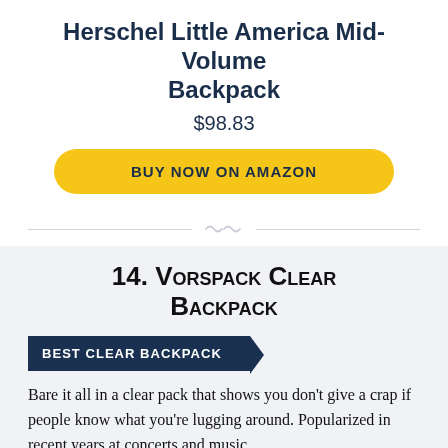Herschel Little America Mid-Volume Backpack
$98.83
BUY NOW ON AMAZON
14. Vorspack Clear Backpack
BEST CLEAR BACKPACK
Bare it all in a clear pack that shows you don't give a crap if people know what you're lugging around. Popularized in recent years at concerts and music